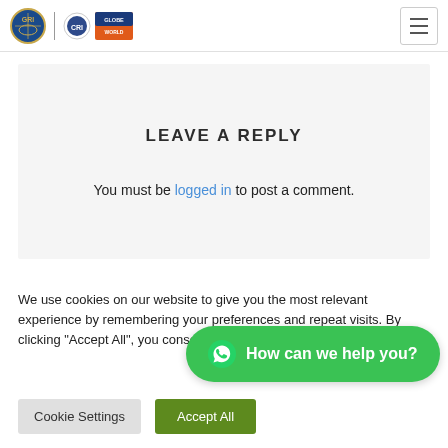[Logo icons] | [Navigation hamburger menu]
LEAVE A REPLY
You must be logged in to post a comment.
We use cookies on our website to give you the most relevant experience by remembering your preferences and repeat visits. By clicking "Accept All", you consent to the use of ALL the cookies. However, you may visit "Cookie Settings" to provide a controlled consent.
[Figure (infographic): WhatsApp chat bubble button with text 'How can we help you?' on green background]
Cookie Settings    Accept All